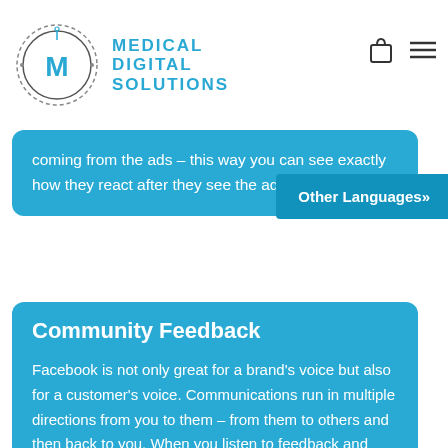Medical Digital Solutions
coming from the ads – this way you can see exactly how they react after they see the ad.
Other Languages»
Community Feedback
Facebook is not only great for a brand's voice but also for a customer's voice. Communications run in multiple directions from you to them – from them to others and then back to you. When you listen to feedback and interactions – The complete set of this platform can be very candid and extremely valuable in understanding a patient/customer's